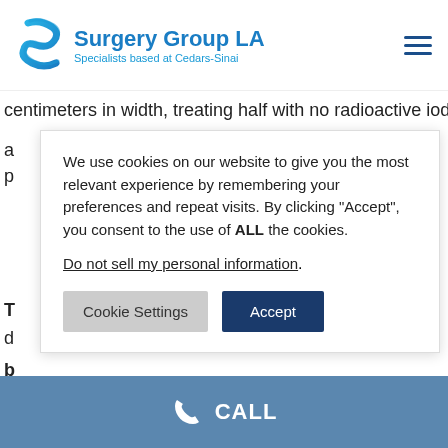[Figure (logo): Surgery Group LA logo with blue S icon and text 'Surgery Group LA / Specialists based at Cedars-Sinai']
centimeters in width, treating half with no radioactive iodine at
a
p
T
d
b
We use cookies on our website to give you the most relevant experience by remembering your preferences and repeat visits. By clicking “Accept”, you consent to the use of ALL the cookies.
Do not sell my personal information.
Cookie Settings | Accept
not treated with radioactive iodine.
While these groups will be monitored for years to com
CALL